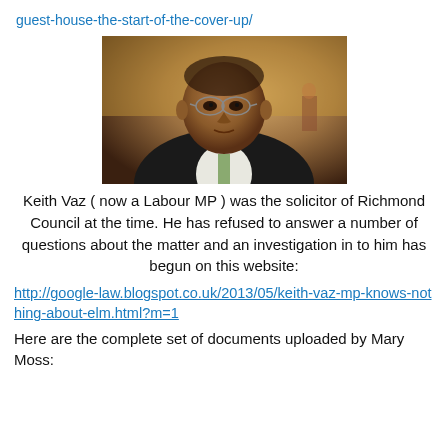guest-house-the-start-of-the-cover-up/
[Figure (photo): Photograph of Keith Vaz, a middle-aged South Asian man wearing glasses and a dark suit, photographed from the shoulders up against a warm blurred background.]
Keith Vaz ( now a Labour MP ) was the solicitor of Richmond Council at the time. He has refused to answer a number of questions about the matter and an investigation in to him has begun on this website:
http://google-law.blogspot.co.uk/2013/05/keith-vaz-mp-knows-nothing-about-elm.html?m=1
Here are the complete set of documents uploaded by Mary Moss: